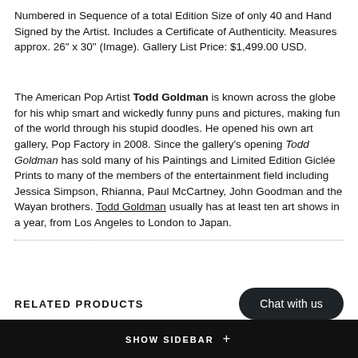Numbered in Sequence of a total Edition Size of only 40 and Hand Signed by the Artist. Includes a Certificate of Authenticity. Measures approx. 26" x 30" (Image). Gallery List Price: $1,499.00 USD.
The American Pop Artist Todd Goldman is known across the globe for his whip smart and wickedly funny puns and pictures, making fun of the world through his stupid doodles. He opened his own art gallery, Pop Factory in 2008. Since the gallery's opening Todd Goldman has sold many of his Paintings and Limited Edition Giclée Prints to many of the members of the entertainment field including Jessica Simpson, Rhianna, Paul McCartney, John Goodman and the Wayan brothers. Todd Goldman usually has at least ten art shows in a year, from Los Angeles to London to Japan.
RELATED PRODUCTS
SHOW SIDEBAR +